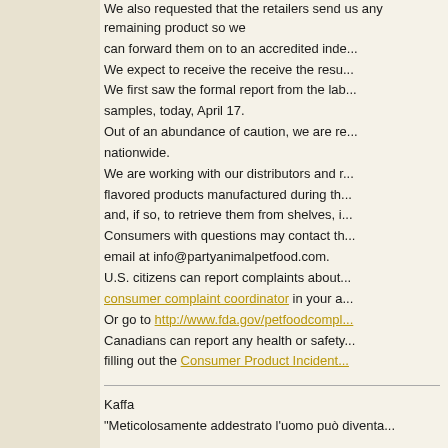We also requested that the retailers send us any remaining product so we can forward them on to an accredited independent laboratory for testing. We expect to receive the receive the results within the next two weeks. We first saw the formal report from the lab on the Nulo samples from 2 samples, today, April 17. Out of an abundance of caution, we are recalling this product nationwide. We are working with our distributors and retailers to identify all the flavored products manufactured during the period in question to determine and, if so, to retrieve them from shelves, if any remain. Consumers with questions may contact the company by phone or email at info@partyanimalpetfood.com. U.S. citizens can report complaints about FDA-regulated products to the consumer complaint coordinator in your area. Or go to http://www.fda.gov/petfoodcompl... Canadians can report any health or safety concerns by filling out the Consumer Product Incident...
Kaffa
"Meticolosamente addestrato l'uomo può diventa...
"Nessuno è obbligato a chiedermi un consiglio e MA... se mi chiedi un consiglio e poi fai esattame... E io, con chi mi ritiene un idiota, preferirei non av...
Allevamento GoldenMania